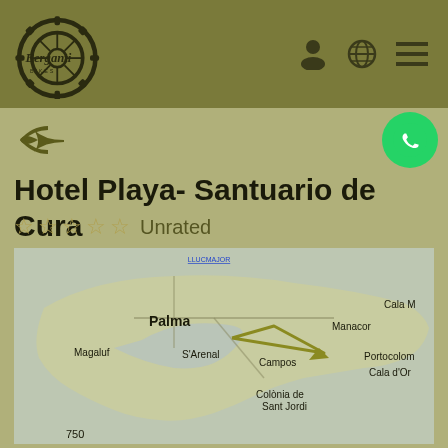[Figure (logo): Berganti Bikes logo - gear wheel with bicycle wheel design and brand name in cursive]
[Figure (illustration): Back arrow icon (return/go back)]
[Figure (illustration): WhatsApp green circle button icon]
Hotel Playa- Santuario de Cura
☆ ☆ ☆ ☆ ☆ Unrated
[Figure (map): Map of Mallorca island showing Palma, Magaluf, S'Arenal, Campos, Manacor, Portocolom, Cala d'Or, Colonia de Sant Jordi, Cala M, with a triangular route drawn in olive/yellow color. LLUCMAJOR label visible at top. Number 750 at bottom left.]